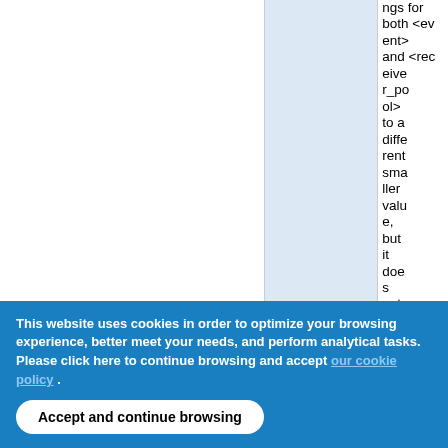|  |  |  |
| --- | --- | --- |
|  |  | ngs for both <event> and <receiver_pool> to a different smaller value, but it does not seem to |
This website uses cookies in order to optimize your browsing experience, better meet your needs, and perform analytical tasks. Please click here to continue browsing and accept our cookie policy .
Accept and continue browsing